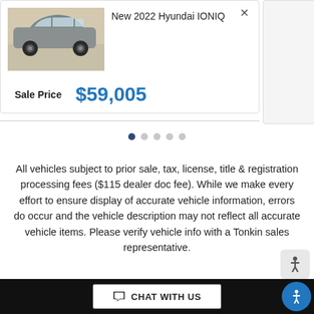[Figure (photo): Silver Hyundai IONIQ 5 SUV viewed from the side-rear quarter]
New 2022 Hyundai IONIQ
Sale Price  $59,005
All vehicles subject to prior sale, tax, license, title & registration processing fees ($115 dealer doc fee). While we make every effort to ensure display of accurate vehicle information, errors do occur and the vehicle description may not reflect all accurate vehicle items. Please verify vehicle info with a Tonkin sales representative.
CHAT WITH US